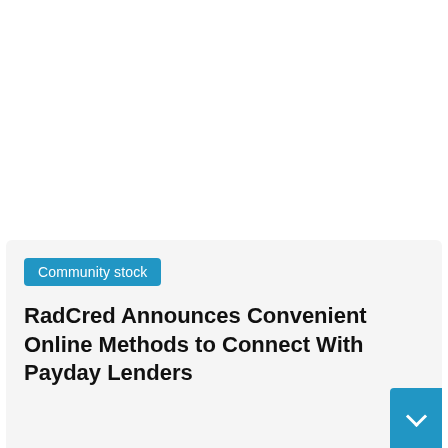Community stock
RadCred Announces Convenient Online Methods to Connect With Payday Lenders